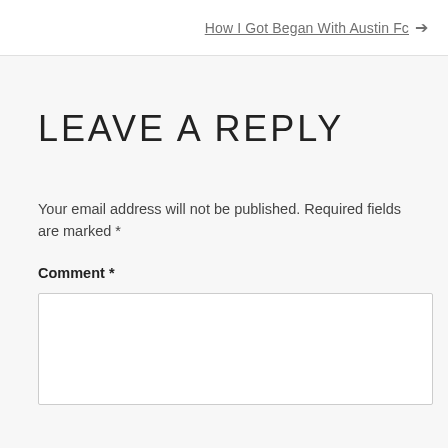How I Got Began With Austin Fc →
LEAVE A REPLY
Your email address will not be published. Required fields are marked *
Comment *